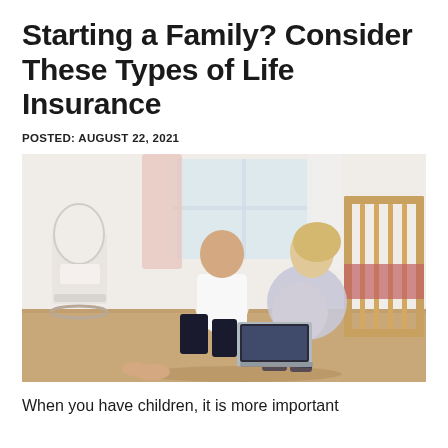Starting a Family? Consider These Types of Life Insurance
POSTED: AUGUST 22, 2021
[Figure (photo): A pregnant woman and a man sitting on the floor of a nursery room, looking at a laptop together. A white wooden rocking chair is on the left and a wooden baby crib is on the right.]
When you have children, it is more important